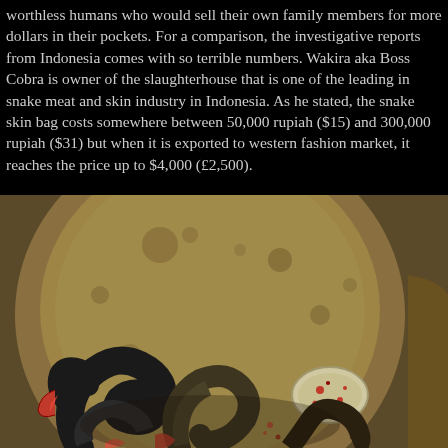worthless humans who would sell their own family members for more dollars in their pockets. For a comparison, the investigative reports from Indonesia comes with so terrible numbers. Wakira aka Boss Cobra is owner of the slaughterhouse that is one of the leading in snake meat and skin industry in Indonesia. As he stated, the snake skin bag costs somewhere between 50,000 rupiah ($15) and 300,000 rupiah ($31) but when it is exported to western fashion market, it reaches the price up to $4,000 (£2,500).
[Figure (photo): Photograph showing skinned snakes inside a large metal pot or bucket, with visible blood and snake body parts including scaled skin and flesh.]